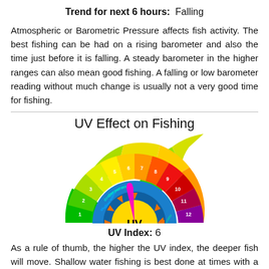Trend for next 6 hours: Falling
Atmospheric or Barometric Pressure affects fish activity. The best fishing can be had on a rising barometer and also the time just before it is falling. A steady barometer in the higher ranges can also mean good fishing. A falling or low barometer reading without much change is usually not a very good time for fishing.
UV Effect on Fishing
[Figure (infographic): UV index semicircle dial showing segments numbered 1-12 colored from green (low) through yellow, orange, red to purple (high). Inner ring shows water depth zones: shallow water, deeper water, very deep water. A magenta pointer indicates UV index 6. Center shows sun icon with 'UV' label and orange triangular rays.]
UV Index: 6
As a rule of thumb, the higher the UV index, the deeper fish will move. Shallow water fishing is best done at times with a low UV index. When the UV is high, stick to early mornings, late evenings and cloudy days. The effect is less noticeable in deeper water.